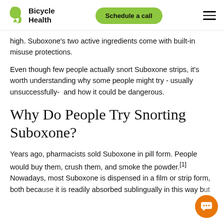Bicycle Health | Schedule a call
high. Suboxone's two active ingredients come with built-in misuse protections.
Even though few people actually snort Suboxone strips, it's worth understanding why some people might try - usually unsuccessfully-  and how it could be dangerous.
Why Do People Try Snorting Suboxone?
Years ago, pharmacists sold Suboxone in pill form. People would buy them, crush them, and smoke the powder.[1] Nowadays, most Suboxone is dispensed in a film or strip form, both because it is readily absorbed sublingually in this way but also because it is more difficult to misuse in this